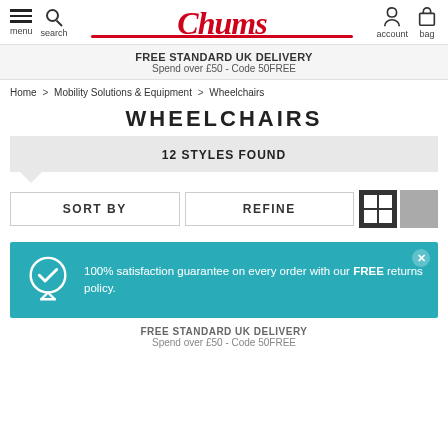[Figure (screenshot): Chums website header with hamburger menu, search icon, Chums logo, account and bag icons]
FREE STANDARD UK DELIVERY
Spend over £50 - Code 50FREE
Home > Mobility Solutions & Equipment > Wheelchairs
WHEELCHAIRS
12 STYLES FOUND
SORT BY
REFINE
100% satisfaction guarantee on every order with our FREE returns policy.
FREE STANDARD UK DELIVERY
Spend over £50 - Code 50FREE